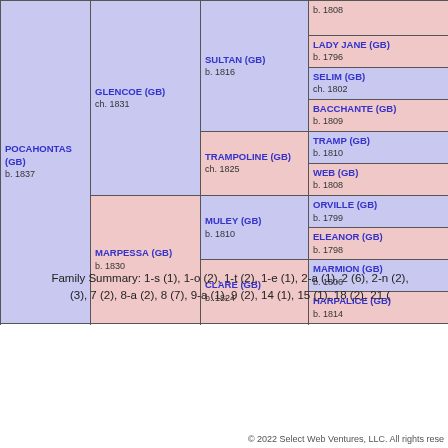[Figure (organizational-chart): Genealogy/pedigree chart showing horse bloodlines. POCAHONTAS (GB) b. 1837 branches to GLENCOE (GB) ch. 1831 and MARPESSA (GB) b. 1830. GLENCOE branches to SULTAN (GB) b. 1816 and TRAMPOLINE (GB) ch. 1825. MARPESSA branches to MULEY (GB) b. 1810 and CLARE (GB) b. 1824. Each of those branches further into pairs: SULTAN to SELIM (GB) ch. 1802 and BACCHANTE (GB) b. 1809; TRAMPOLINE to TRAMP (GB) b. 1810 and WEB (GB) b. 1808; MULEY to ORVILLE (GB) b. 1799 and ELEANOR (GB) b. 1798; CLARE to MARMION (GB) b. 1806 and HARPALICE (GB) b. 1814. Also partial top row showing b. 1808 and LADY JANE (GB) b. 1796.]
Family Summary: 1-s (1), 1-o (2), 1-t (2), 1-e (1), 2-a (1), 2 (6), 2-n (2), (3), 7 (2), 8-a (2), 8 (7), 9-a (1), 9 (2), 14 (1), 15 (1), 18 (2), 21 (
© 2022 Select Web Ventures, LLC. All rights rese